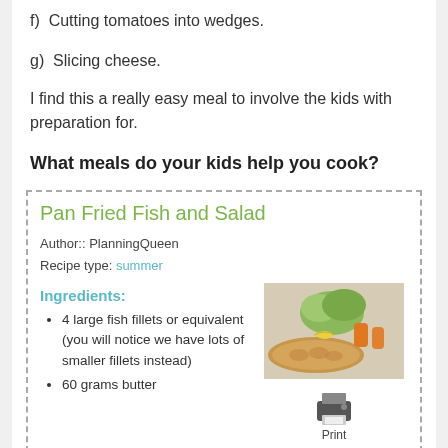f)  Cutting tomatoes into wedges.
g)  Slicing cheese.
I find this a really easy meal to involve the kids with preparation for.
What meals do your kids help you cook?
Pan Fried Fish and Salad
Author:: PlanningQueen
Recipe type: summer
Ingredients:
4 large fish fillets or equivalent (you will notice we have lots of smaller fillets instead)
60 grams butter
[Figure (photo): Pan fried fish with salad vegetables — breaded fish fillet with carrots, lettuce, and lemon wedge]
[Figure (other): Print button icon with label 'Print']